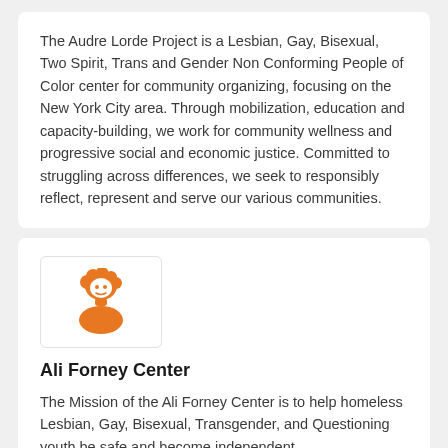The Audre Lorde Project is a Lesbian, Gay, Bisexual, Two Spirit, Trans and Gender Non Conforming People of Color center for community organizing, focusing on the New York City area. Through mobilization, education and capacity-building, we work for community wellness and progressive social and economic justice. Committed to struggling across differences, we seek to responsibly reflect, represent and serve our various communities.
[Figure (logo): Ali Forney Center logo: orange silhouette of a person's head and shoulders on white background]
Ali Forney Center
The Mission of the Ali Forney Center is to help homeless Lesbian, Gay, Bisexual, Transgender, and Questioning youth be safe and become independent